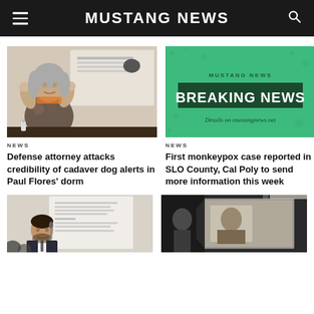MUSTANG NEWS
[Figure (photo): Woman speaking at a podium with hands raised, gray hair, floral top with orange scarf, courtroom setting]
[Figure (infographic): Mustang News Breaking News graphic on green background. Text: MUSTANG NEWS BREAKING NEWS Details on mustangnews.net]
NEWS
Defense attorney attacks credibility of cadaver dog alerts in Paul Flores' dorm
NEWS
First monkeypox case reported in SLO County, Cal Poly to send more information this week
[Figure (photo): Man in suit speaking at a podium in a courtroom, documents visible in background]
[Figure (photo): Person presenting at a screen/projector showing a photo, dark room setting]